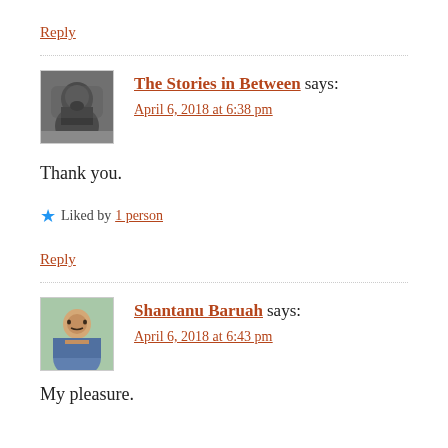Reply
The Stories in Between says:
April 6, 2018 at 6:38 pm
Thank you.
Liked by 1 person
Reply
Shantanu Baruah says:
April 6, 2018 at 6:43 pm
My pleasure.